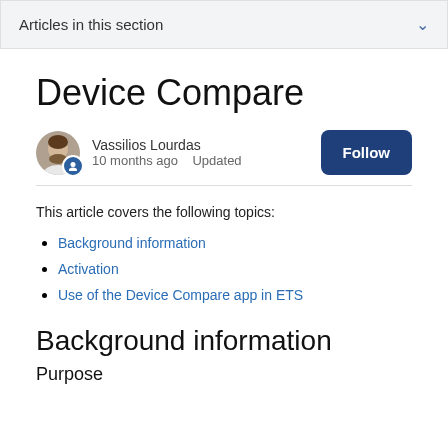Articles in this section
Device Compare
Vassilios Lourdas
10 months ago   Updated
This article covers the following topics:
Background information
Activation
Use of the Device Compare app in ETS
Background information
Purpose